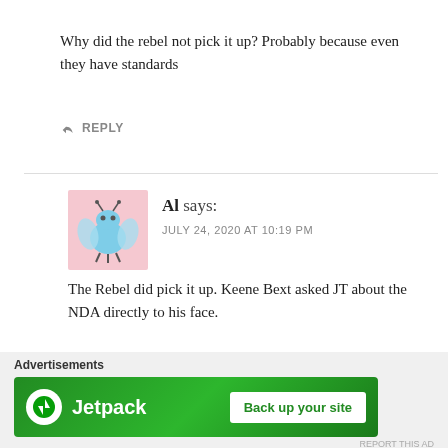Why did the rebel not pick it up? Probably because even they have standards
↩ REPLY
Al says:
JULY 24, 2020 AT 10:19 PM
[Figure (illustration): Avatar image of commenter Al — cartoon bug/robot character in pink/blue on pink background]
The Rebel did pick it up. Keene Bext asked JT about the NDA directly to his face.
↩ REPLY
Advertisements
[Figure (screenshot): Jetpack advertisement banner with green background, Jetpack logo and 'Back up your site' button]